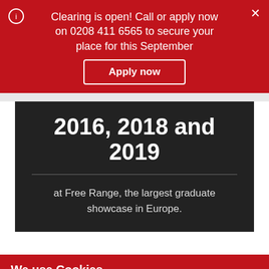Clearing is open! Call or apply now on 0208 411 6565 to secure your place for this September
Apply now
2016, 2018 and 2019
at Free Range, the largest graduate showcase in Europe.
We use Cookies
View our Privacy and Cookie policy
Accept